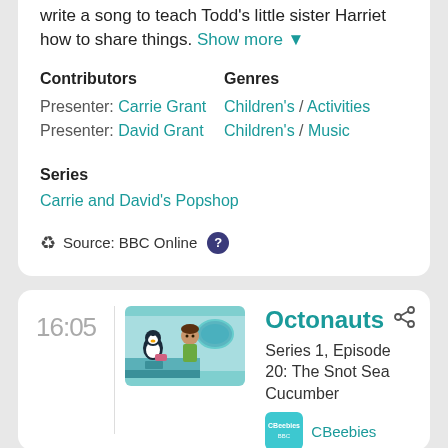write a song to teach Todd's little sister Harriet how to share things. Show more ▼
Contributors
Genres
Presenter: Carrie Grant
Children's / Activities
Presenter: David Grant
Children's / Music
Series
Carrie and David's Popshop
Source: BBC Online
16:05
[Figure (illustration): Animated characters from Octonauts show - a penguin and a child character in a teal underwater base setting]
Octonauts
Series 1, Episode 20: The Snot Sea Cucumber
[Figure (logo): CBeebies logo badge]
CBeebies